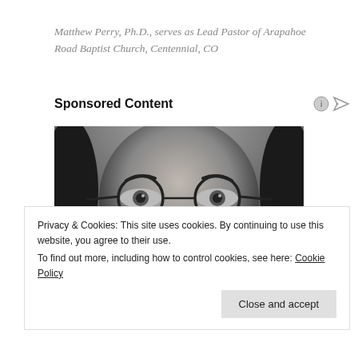Matthew Perry, Ph.D., serves as Lead Pastor of Arapahoe Road Baptist Church, Centennial, CO
Sponsored Content
[Figure (photo): Black and white close-up photo of a person wearing round wire-framed glasses with long hair, only eyes and glasses visible]
The 5 Books To Read To Transform
Privacy & Cookies: This site uses cookies. By continuing to use this website, you agree to their use.
To find out more, including how to control cookies, see here: Cookie Policy